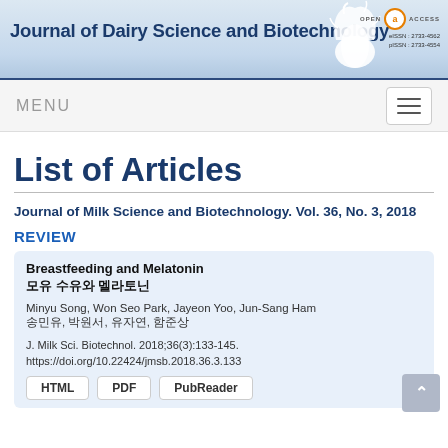Journal of Dairy Science and Biotechnology | eISSN: 2733-4562 | pISSN: 2733-4554
List of Articles
Journal of Milk Science and Biotechnology. Vol. 36, No. 3, 2018
REVIEW
Breastfeeding and Melatonin
모유 수유와 멜라토닌
Minyu Song, Won Seo Park, Jayeon Yoo, Jun-Sang Ham
송민유, 박원서, 유자연, 함준상
J. Milk Sci. Biotechnol. 2018;36(3):133-145.
https://doi.org/10.22424/jmsb.2018.36.3.133
HTML | PDF | PubReader